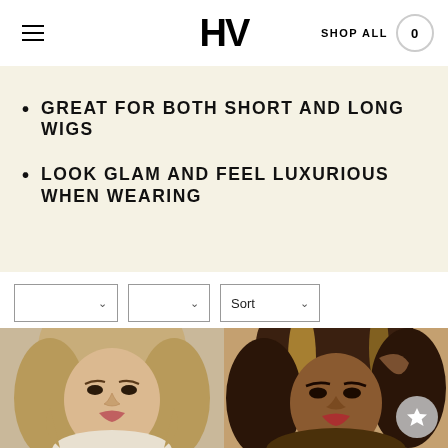HV | SHOP ALL 0
GREAT FOR BOTH SHORT AND LONG WIGS
LOOK GLAM AND FEEL LUXURIOUS WHEN WEARING
[Figure (screenshot): Filter/sort dropdown buttons: two unlabeled dropdowns and a Sort dropdown]
[Figure (photo): Two wig product photos side by side: left shows a woman with wavy blonde wig, right shows a woman with brown and blonde highlighted wig with a wishlist star button overlay]